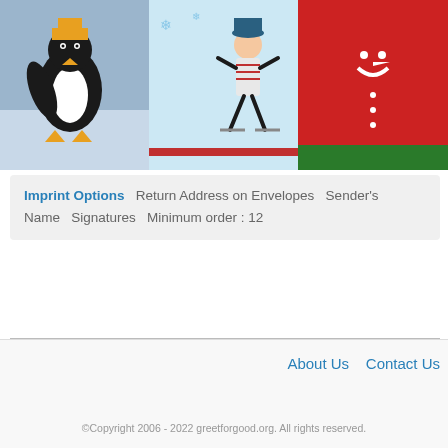[Figure (illustration): Three children's artwork panels side by side: left panel shows a penguin on blue/grey background, middle panel shows a figure ice skating on light blue background, right panel shows a snowman on red background with green border.]
Imprint Options   Return Address on Envelopes   Sender's Name   Signatures   Minimum order : 12
About Us   Contact Us
©Copyright 2006 - 2022 greetforgood.org. All rights reserved.